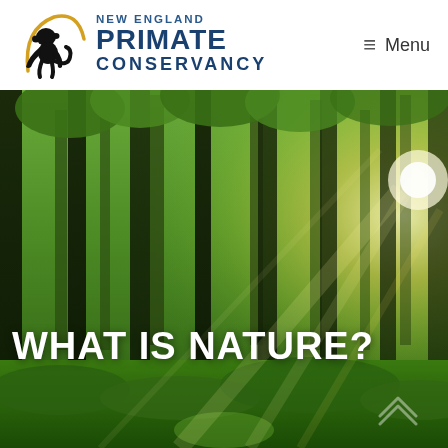[Figure (logo): New England Primate Conservancy logo — monkey silhouette with golden arc on left, organization name text on right]
≡ Menu
[Figure (photo): Sunlit forest with tall trees and green foliage, sun rays breaking through on the right side]
WHAT IS NATURE?